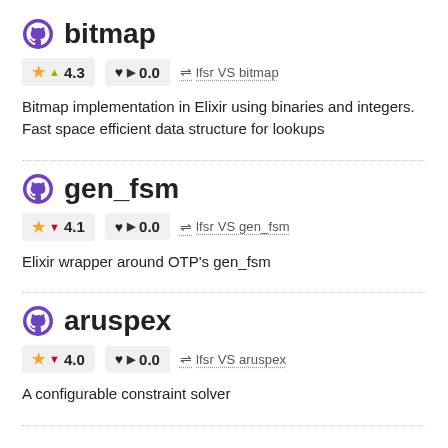bitmap
★ ▲ 4.3   ♥ ▶ 0.0   ⇌ lfsr VS bitmap
Bitmap implementation in Elixir using binaries and integers. Fast space efficient data structure for lookups
gen_fsm
★ ▼ 4.1   ♥ ▶ 0.0   ⇌ lfsr VS gen_fsm
Elixir wrapper around OTP's gen_fsm
aruspex
★ ▼ 4.0   ♥ ▶ 0.0   ⇌ lfsr VS aruspex
A configurable constraint solver